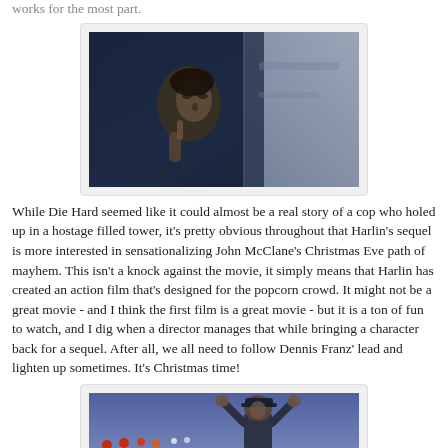works for the most part.
[Figure (photo): Dark movie still showing a man in shadow looking upward, from Die Hard 2]
While Die Hard seemed like it could almost be a real story of a cop who holed up in a hostage filled tower, it's pretty obvious throughout that Harlin's sequel is more interested in sensationalizing John McClane's Christmas Eve path of mayhem.  This isn't a knock against the movie, it simply means that Harlin has created an action film that's designed for the popcorn crowd.  It might not be a great movie - and I think the first film is a great movie - but it is a ton of fun to watch, and I dig when a director manages that while bringing a character back for a sequel.  After all, we all need to follow Dennis Franz' lead and lighten up sometimes.  It's Christmas time!
[Figure (photo): Movie still showing a man in a police/military cap with hands raised, standing outside at dusk with lights in background]